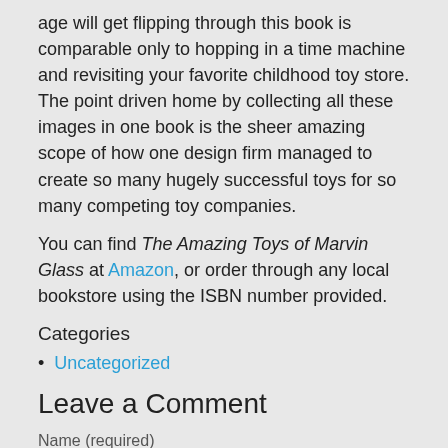age will get flipping through this book is comparable only to hopping in a time machine and revisiting your favorite childhood toy store. The point driven home by collecting all these images in one book is the sheer amazing scope of how one design firm managed to create so many hugely successful toys for so many competing toy companies.
You can find The Amazing Toys of Marvin Glass at Amazon, or order through any local bookstore using the ISBN number provided.
Categories
Uncategorized
Leave a Comment
Name (required)